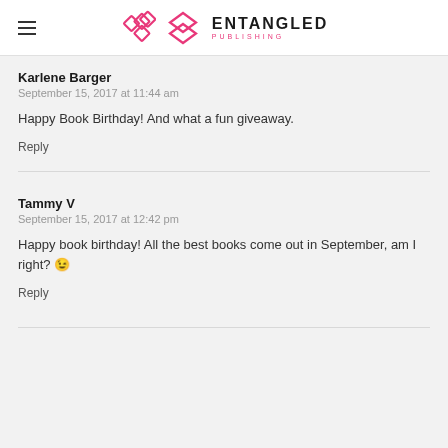Entangled Publishing
Karlene Barger
September 15, 2017 at 11:44 am
Happy Book Birthday! And what a fun giveaway.
Reply
Tammy V
September 15, 2017 at 12:42 pm
Happy book birthday! All the best books come out in September, am I right? 😉
Reply